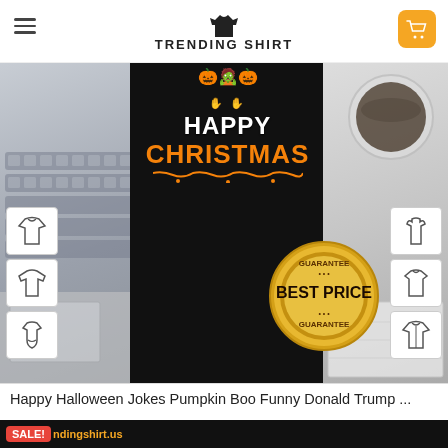TRENDING SHIRT
[Figure (screenshot): Product listing screenshot from trendingshirt.us showing a black t-shirt with 'Happy Christmas' Halloween-themed print, with Best Price Guarantee badge, style option thumbnails on left and right, on a desk with laptop and coffee background]
Happy Halloween Jokes Pumpkin Boo Funny Donald Trump ...
★★★★★
SALE! ndingshirt.us